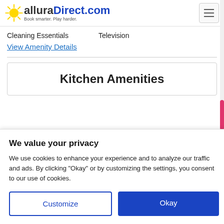alluraDirect.com — Book smarter. Play harder.
Cleaning Essentials    Television
View Amenity Details
Kitchen Amenities
We value your privacy
We use cookies to enhance your experience and to analyze our traffic and ads. By clicking "Okay" or by customizing the settings, you consent to our use of cookies.
Customize
Okay